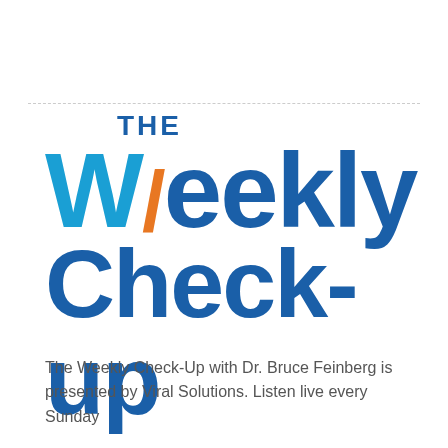[Figure (logo): The Weekly Check-up Atlanta logo. 'THE' in bold dark blue uppercase, 'Weekly' in large bold text with 'W' in cyan/light blue with orange accent stroke and 'eekly' in dark blue, 'Check-up' in large bold dark blue, 'ATLANTA' in bold orange uppercase with letter-spacing.]
The Weekly Check-Up with Dr. Bruce Feinberg is presented by Viral Solutions. Listen live every Sunday